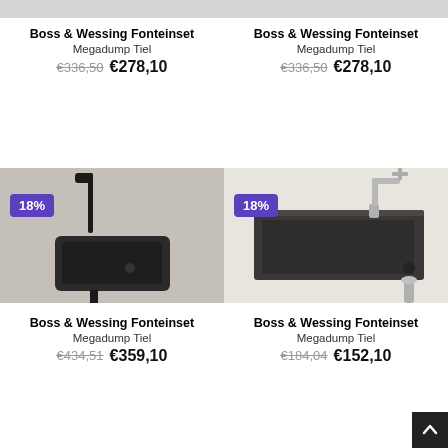[Figure (photo): Partial top image of sink product (cut off), left column top]
Boss & Wessing Fonteinset
Megadump Tiel
€336,50  €278,10
[Figure (photo): Partial top image of sink product (cut off), right column top]
Boss & Wessing Fonteinset
Megadump Tiel
€336,50  €278,10
[Figure (photo): Black matte sink with black faucet mounted on wall, 18% discount badge]
Boss & Wessing Fonteinset
Megadump Tiel
€434,51  €359,10
[Figure (photo): Dark stone/concrete sink with chrome faucet and drain pipe, 18% discount badge]
Boss & Wessing Fonteinset
Megadump Tiel
€184,04  €152,10